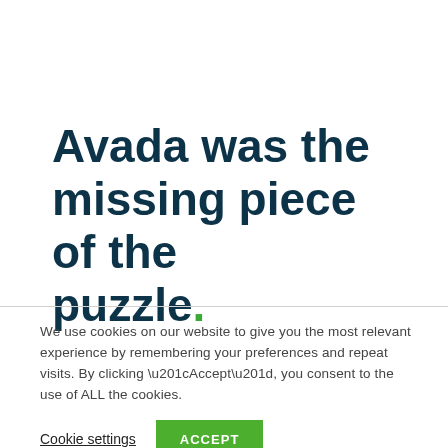Avada was the missing piece of the puzzle.
We use cookies on our website to give you the most relevant experience by remembering your preferences and repeat visits. By clicking “Accept”, you consent to the use of ALL the cookies.
Cookie settings  ACCEPT